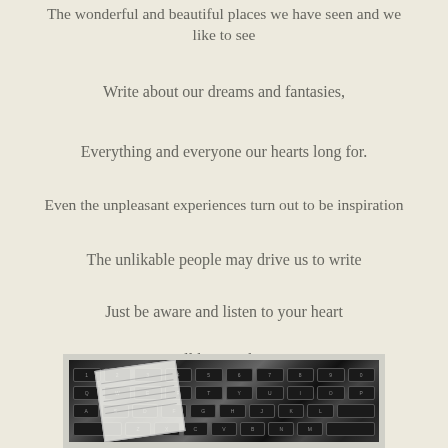The wonderful and beautiful places we have seen and we like to see
Write about our dreams and fantasies,
Everything and everyone our hearts long for.
Even the unpleasant experiences turn out to be inspiration
The unlikable people may drive us to write
Just be aware and listen to your heart
You will know what to say
You will know what to write.
[Figure (photo): Black and white photo of a keyboard with sheets of paper and a pen, partially visible at bottom of page]